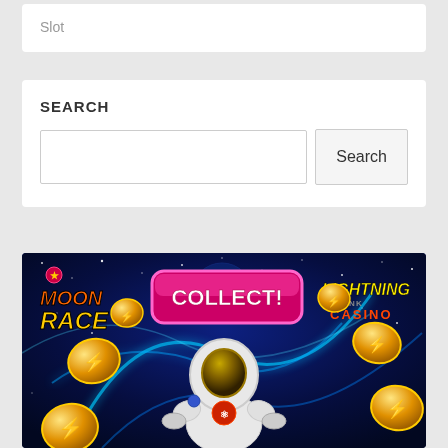Slot
SEARCH
Search
[Figure (illustration): Moon Race slot game promotional image for Lightning Link Casino. Shows an astronaut in a spacesuit surrounded by gold coins with lightning bolt symbols, blue neon energy arcs in a space background. A pink/magenta 'COLLECT!' button is prominently displayed at the top center. 'Moon Race' logo is on the upper left in orange/yellow, and 'Lightning Link Casino' logo is on the upper right.]